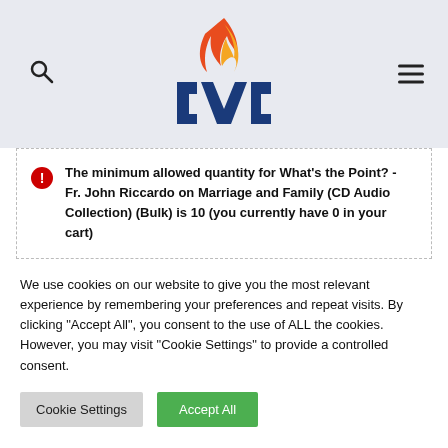[Figure (logo): AVC logo with flame and letter shapes in blue with orange/red flame on top]
The minimum allowed quantity for What's the Point? - Fr. John Riccardo on Marriage and Family (CD Audio Collection) (Bulk) is 10 (you currently have 0 in your cart)
We use cookies on our website to give you the most relevant experience by remembering your preferences and repeat visits. By clicking "Accept All", you consent to the use of ALL the cookies. However, you may visit "Cookie Settings" to provide a controlled consent.
Cookie Settings
Accept All